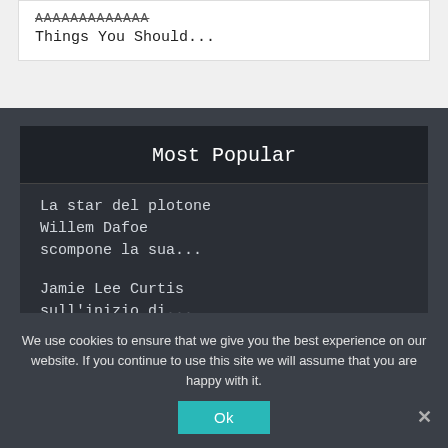Things You Should...
Most Popular
La star del plotone Willem Dafoe scompone la sua...
Jamie Lee Curtis sull'inizio di...
We use cookies to ensure that we give you the best experience on our website. If you continue to use this site we will assume that you are happy with it.